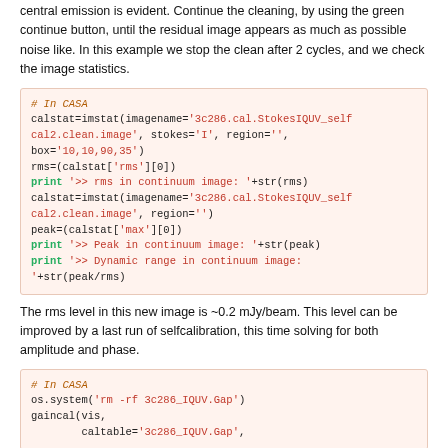central emission is evident. Continue the cleaning, by using the green continue button, until the residual image appears as much as possible noise like. In this example we stop the clean after 2 cycles, and we check the image statistics.
# In CASA
calstat=imstat(imagename='3c286.cal.StokesIQUV_selfcal2.clean.image', stokes='I', region='', box='10,10,90,35')
rms=(calstat['rms'][0])
print '>> rms in continuum image: '+str(rms)
calstat=imstat(imagename='3c286.cal.StokesIQUV_selfcal2.clean.image', region='')
peak=(calstat['max'][0])
print '>> Peak in continuum image: '+str(peak)
print '>> Dynamic range in continuum image: '+str(peak/rms)
The rms level in this new image is ~0.2 mJy/beam. This level can be improved by a last run of selfcalibration, this time solving for both amplitude and phase.
# In CASA
os.system('rm -rf 3c286_IQUV.Gap')
gaincal(vis,
        caltable='3c286_IQUV.Gap',